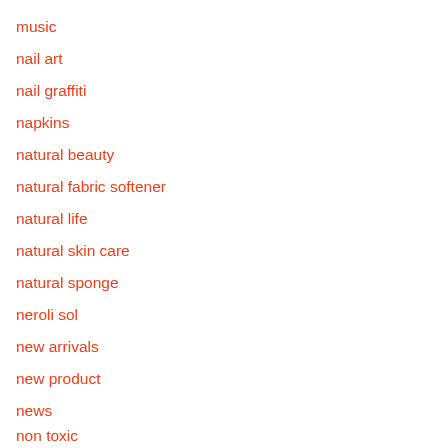music
nail art
nail graffiti
napkins
natural beauty
natural fabric softener
natural life
natural skin care
natural sponge
neroli sol
new arrivals
new product
news
non toxic